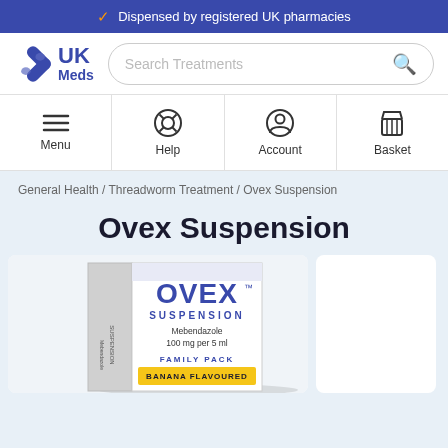Dispensed by registered UK pharmacies
[Figure (logo): UK Meds logo with blue X icon and search bar]
[Figure (infographic): Navigation row with Menu, Help, Account, Basket icons]
General Health / Threadworm Treatment / Ovex Suspension
Ovex Suspension
[Figure (photo): Ovex Suspension Mebendazole 100mg per 5ml Family Pack, banana flavoured, product box photo]